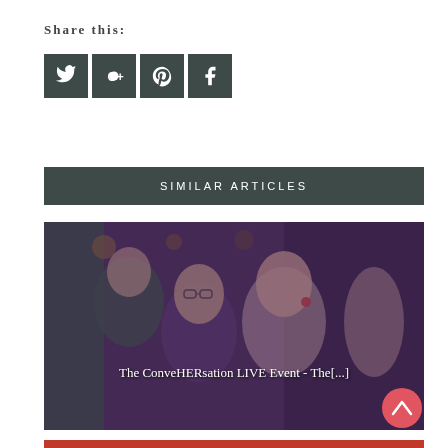Share this:
[Figure (infographic): Four social media share buttons: Twitter, Google+, Pinterest, Facebook — dark teal square icons with white symbols]
SIMILAR ARTICLES
[Figure (photo): Two young women at an event, one with glasses smiling, one looking up. Purple-tinted photo overlay. Caption text: 'The ConveHERsation LIVE Event - The[...]']
The ConveHERsation LIVE Event - The[...]